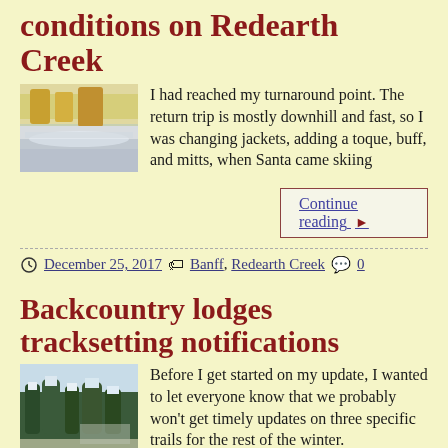conditions on Redearth Creek
[Figure (photo): Outdoor winter scene with snow-covered trees and golden aspens]
I had reached my turnaround point. The return trip is mostly downhill and fast, so I was changing jackets, adding a toque, buff, and mitts, when Santa came skiing
Continue reading
December 25, 2017  Banff , Redearth Creek  0
Backcountry lodges tracksetting notifications
[Figure (photo): Winter forest scene with snow-covered evergreen trees]
Before I get started on my update, I wanted to let everyone know that we probably won't get timely updates on three specific trails for the rest of the winter.
Continue reading